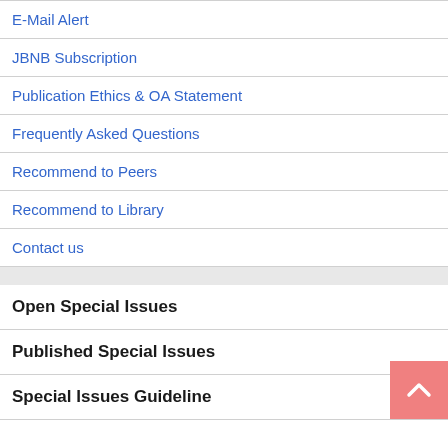E-Mail Alert
JBNB Subscription
Publication Ethics & OA Statement
Frequently Asked Questions
Recommend to Peers
Recommend to Library
Contact us
Open Special Issues
Published Special Issues
Special Issues Guideline